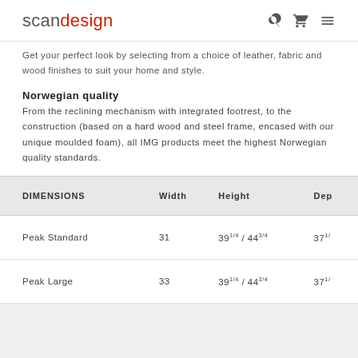scandesign
Get your perfect look by selecting from a choice of leather, fabric and wood finishes to suit your home and style.
Norwegian quality
From the reclining mechanism with integrated footrest, to the construction (based on a hard wood and steel frame, encased with our unique moulded foam), all IMG products meet the highest Norwegian quality standards.
| DIMENSIONS | Width | Height | Dep… |
| --- | --- | --- | --- |
| Peak Standard | 31 | 39¼ / 44¾ | 37½… |
| Peak Large | 33 | 39¼ / 44¾ | 37½… |